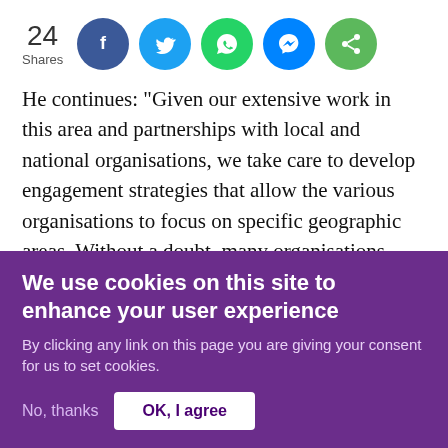[Figure (infographic): Social share bar showing 24 Shares with circular buttons for Facebook, Twitter, WhatsApp, Messenger, and a generic share button]
He continues: "Given our extensive work in this area and partnerships with local and national organisations, we take care to develop engagement strategies that allow the various organisations to focus on specific geographic areas. Without a doubt, many organisations (Muslim or otherwise) play a role in increasing voter turnout and whatever success that we are witnessing is a shared one.
We use cookies on this site to enhance your user experience
By clicking any link on this page you are giving your consent for us to set cookies.
No, thanks   OK, I agree